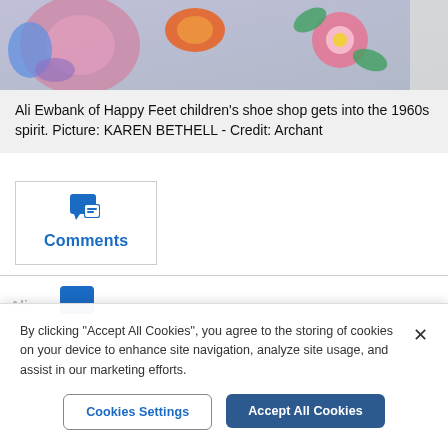[Figure (photo): Partial photo of Ali Ewbank at Happy Feet children's shoe shop, showing colorful floral costume elements]
Ali Ewbank of Happy Feet children's shoe shop gets into the 1960s spirit. Picture: KAREN BETHELL - Credit: Archant
[Figure (other): Comments section icon with chat bubble icon and blue 'Comments' label]
By clicking "Accept All Cookies", you agree to the storing of cookies on your device to enhance site navigation, analyze site usage, and assist in our marketing efforts.
Cookies Settings
Accept All Cookies